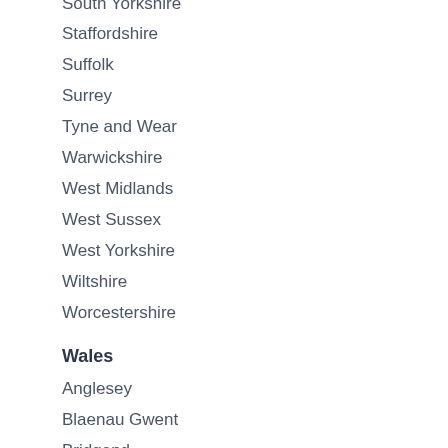South Yorkshire
Staffordshire
Suffolk
Surrey
Tyne and Wear
Warwickshire
West Midlands
West Sussex
West Yorkshire
Wiltshire
Worcestershire
Wales
Anglesey
Blaenau Gwent
Bridgend
Caerphilly
Cardiff City
Carmarthenshire
Ceredigion